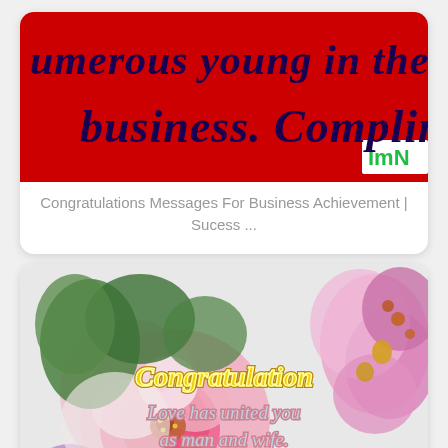[Figure (illustration): Red banner with dark blue cursive/italic script text reading 'numerous young in the way of business. Compliment!' with a small 'ImN' watermark in green on white in the top-right corner.]
Congratulations Messages For Business Achievement | Sucess ...
[Figure (illustration): Greeting card with flowers (pink roses and pink orchids) on a light background. Yellow outlined text reads 'Congratulation'. Below in pink outlined text: 'Love has united you as man and wife. May your love']